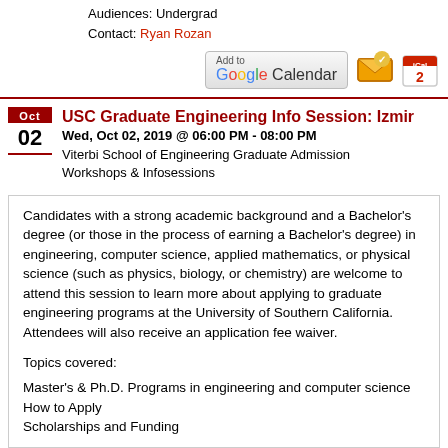Audiences: Undergrad
Contact: Ryan Rozan
[Figure (screenshot): Add to Google Calendar button, email envelope icon, and iCal icon buttons]
USC Graduate Engineering Info Session: Izmir
Wed, Oct 02, 2019 @ 06:00 PM - 08:00 PM
Viterbi School of Engineering Graduate Admission
Workshops & Infosessions
Candidates with a strong academic background and a Bachelor's degree (or those in the process of earning a Bachelor's degree) in engineering, computer science, applied mathematics, or physical science (such as physics, biology, or chemistry) are welcome to attend this session to learn more about applying to graduate engineering programs at the University of Southern California. Attendees will also receive an application fee waiver.

Topics covered:

Master's & Ph.D. Programs in engineering and computer science
How to Apply
Scholarships and Funding